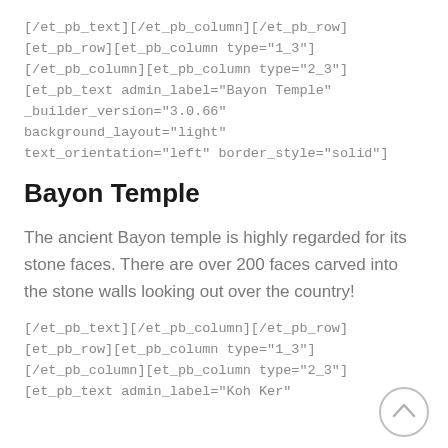[/et_pb_text][/et_pb_column][/et_pb_row][et_pb_row][et_pb_column type="1_3"][/et_pb_column][et_pb_column type="2_3"][et_pb_text admin_label="Bayon Temple" _builder_version="3.0.66" background_layout="light" text_orientation="left" border_style="solid"]
Bayon Temple
The ancient Bayon temple is highly regarded for its stone faces. There are over 200 faces carved into the stone walls looking out over the country!
[/et_pb_text][/et_pb_column][/et_pb_row][et_pb_row][et_pb_column type="1_3"][/et_pb_column][et_pb_column type="2_3"][et_pb_text admin_label="Koh Ker"